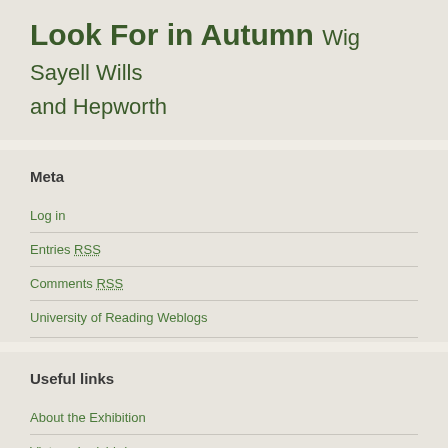Look For in Autumn Wig Sayell Wills and Hepworth
Meta
Log in
Entries RSS
Comments RSS
University of Reading Weblogs
Useful links
About the Exhibition
Vintage Ladybird